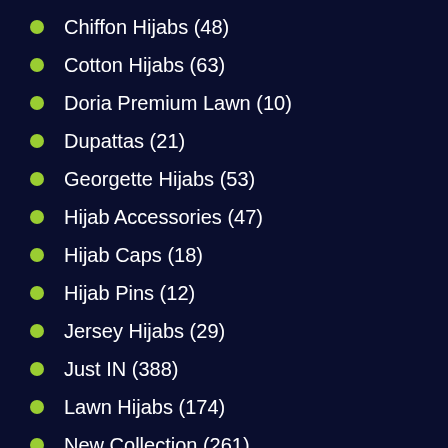Chiffon Hijabs (48)
Cotton Hijabs (63)
Doria Premium Lawn (10)
Dupattas (21)
Georgette Hijabs (53)
Hijab Accessories (47)
Hijab Caps (18)
Hijab Pins (12)
Jersey Hijabs (29)
Just IN (388)
Lawn Hijabs (174)
New Collection (261)
Niqabs (2)
Organza Hijabs (17)
Party Wear Hijabs (222)